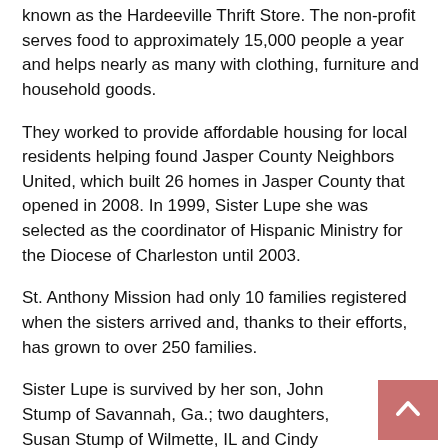known as the Hardeeville Thrift Store. The non-profit serves food to approximately 15,000 people a year and helps nearly as many with clothing, furniture and household goods.
They worked to provide affordable housing for local residents helping found Jasper County Neighbors United, which built 26 homes in Jasper County that opened in 2008. In 1999, Sister Lupe she was selected as the coordinator of Hispanic Ministry for the Diocese of Charleston until 2003.
St. Anthony Mission had only 10 families registered when the sisters arrived and, thanks to their efforts, has grown to over 250 families.
Sister Lupe is survived by her son, John Stump of Savannah, Ga.; two daughters, Susan Stump of Wilmette, IL and Cindy Meyer of Crystal Lake, IL; two brothers, Leandro Domingez Jr. of Kewanee, IL and Dave Domingez of Mount Vernon, IL; a sister, Connie McKinley of Oneida, Tenn., and a granddaughter, Courtney Meyer.